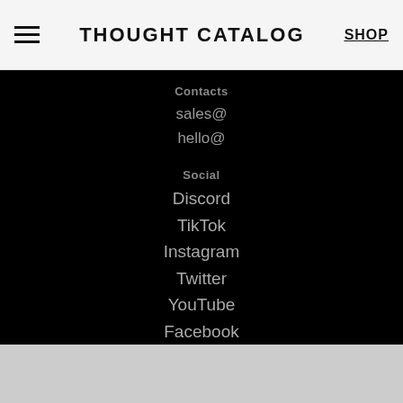THOUGHT CATALOG  SHOP
Contacts
sales@
hello@
Social
Discord
TikTok
Instagram
Twitter
YouTube
Facebook